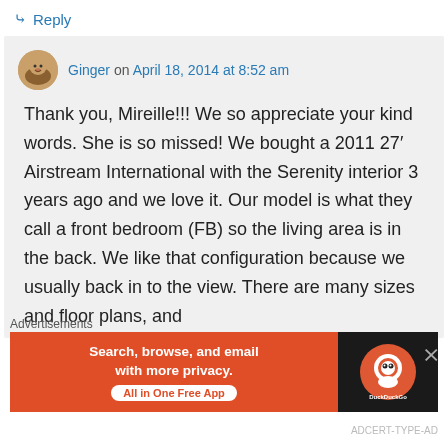↳ Reply
Ginger on April 18, 2014 at 8:52 am
Thank you, Mireille!!! We so appreciate your kind words. She is so missed! We bought a 2011 27′ Airstream International with the Serenity interior 3 years ago and we love it. Our model is what they call a front bedroom (FB) so the living area is in the back. We like that configuration because we usually back in to the view. There are many sizes and floor plans, and
Advertisements
[Figure (screenshot): DuckDuckGo advertisement banner: 'Search, browse, and email with more privacy. All in One Free App' with DuckDuckGo logo on dark background.]